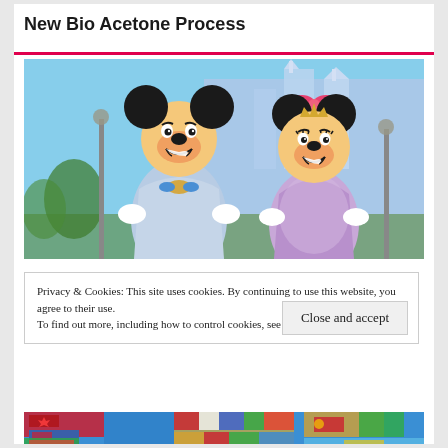New Bio Acetone Process
[Figure (photo): Mickey Mouse and Minnie Mouse characters in celebration outfits standing in front of a castle at a Disney theme park]
Privacy & Cookies: This site uses cookies. By continuing to use this website, you agree to their use.
To find out more, including how to control cookies, see here: Cookie Policy
[Figure (map): World map with countries shown in different colors/flags, partially visible at bottom of page]